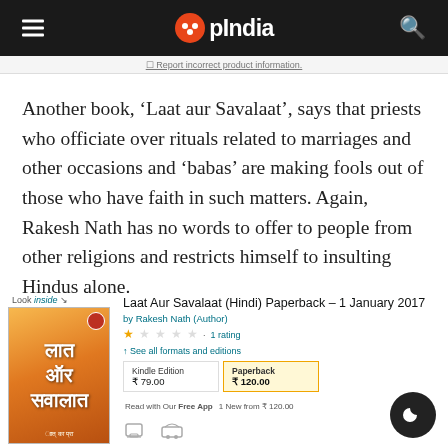OpIndia
Report incorrect product information.
Another book, ‘Laat aur Savalaat’, says that priests who officiate over rituals related to marriages and other occasions and ‘babas’ are making fools out of those who have faith in such matters. Again, Rakesh Nath has no words to offer to people from other religions and restricts himself to insulting Hindus alone.
[Figure (screenshot): Amazon product listing screenshot for 'Laat Aur Savalaat (Hindi) Paperback - 1 January 2017' by Rakesh Nath, showing 1 rating, Kindle Edition ₹79.00, Paperback ₹120.00, 1 New from ₹120.00]